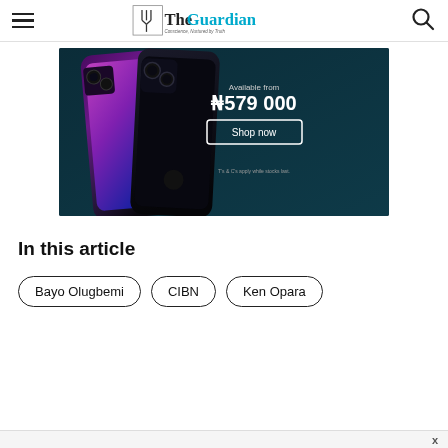The Guardian — Conscience, Nurtured by Truth
[Figure (photo): iPhone advertisement banner showing dark iPhone 13 against dark teal background with price ₦579 000 and Shop now button]
In this article
Bayo Olugbemi
CIBN
Ken Opara